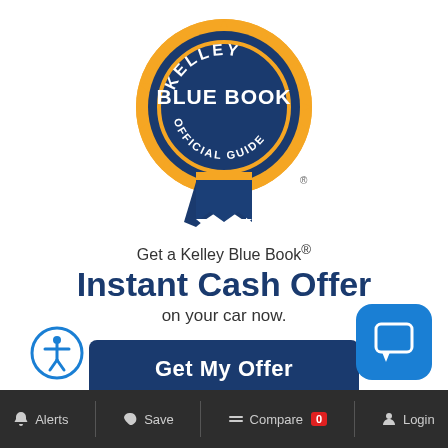[Figure (logo): Kelley Blue Book Official Guide seal/badge logo — circular dark blue badge with gold sunburst border, text KELLEY on top arc, BLUE BOOK in large white bold text in center, OFFICIAL GUIDE on lower arc inside a gold ring, with a dark blue ribbon/medal tail below and a small registered trademark symbol at bottom right.]
Get a Kelley Blue Book®
Instant Cash Offer
on your car now.
[Figure (infographic): A dark blue rounded rectangle button labeled 'Get My Offer' in white bold text, with an accessibility icon (person in circle) on the left and a blue chat/message icon button on the right.]
Alerts   Save   Compare 0   Login